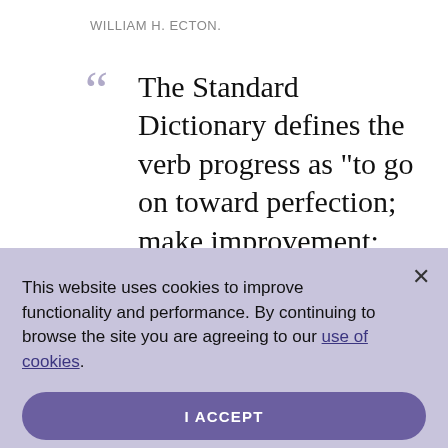WILLIAM H. ECTON.
The Standard Dictionary defines the verb progress as "to go on toward perfection; make improvement; rise; gain;
This website uses cookies to improve functionality and performance. By continuing to browse the site you are agreeing to our use of cookies.
I ACCEPT